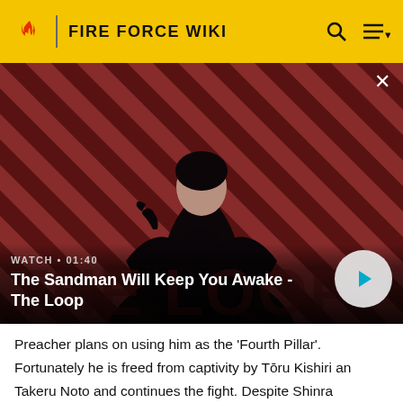FIRE FORCE WIKI
[Figure (screenshot): Video thumbnail showing a dark-cloaked figure with a crow on their shoulder against a red and black striped background. Overlay text reads 'WATCH • 01:40' and 'The Sandman Will Keep You Awake - The Loop' with a play button on the right.]
Preacher plans on using him as the 'Fourth Pillar'. Fortunately he is freed from captivity by Tōru Kishiri and Takeru Noto and continues the fight. Despite Shinra discovering the nature of Charon's ability and unleashing a powerful attack, his foe quickly recovers and Inca